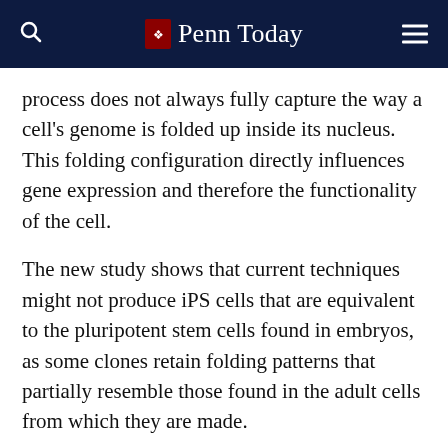Penn Today
process does not always fully capture the way a cell's genome is folded up inside its nucleus. This folding configuration directly influences gene expression and therefore the functionality of the cell.
The new study shows that current techniques might not produce iPS cells that are equivalent to the pluripotent stem cells found in embryos, as some clones retain folding patterns that partially resemble those found in the adult cells from which they are made.
Led by Jennifer Phillips-Cremins, assistant professor in the School of Engineering and Applied Science's Department of Bioengineering, and Jonathan Beagan, a graduate student in her lab, the study, published in the